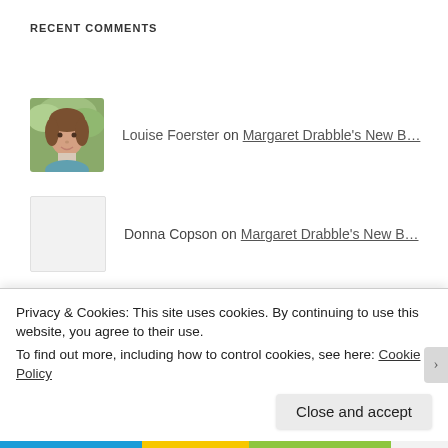RECENT COMMENTS
Louise Foerster on Margaret Drabble's New B…
Donna Copson on Margaret Drabble's New B…
Joan Mistretta on Margaret Drabble's New B…
Donna Copson on It's Getting Real
Donna Copson on It's Getting Real
Privacy & Cookies: This site uses cookies. By continuing to use this website, you agree to their use.
To find out more, including how to control cookies, see here: Cookie Policy
Close and accept